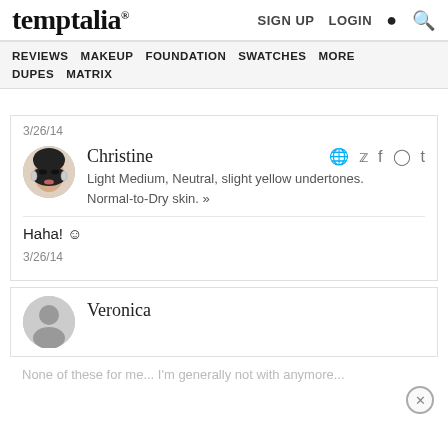temptalia® | SIGN UP  LOGIN  🔍
REVIEWS  MAKEUP  FOUNDATION  SWATCHES  MORE  DUPES  MATRIX
3/26/14
Christine
Light Medium, Neutral, slight yellow undertones. Normal-to-Dry skin. »
Haha! ☺
3/26/14
Veronica
None of these for me... I'm generally not with anymore...